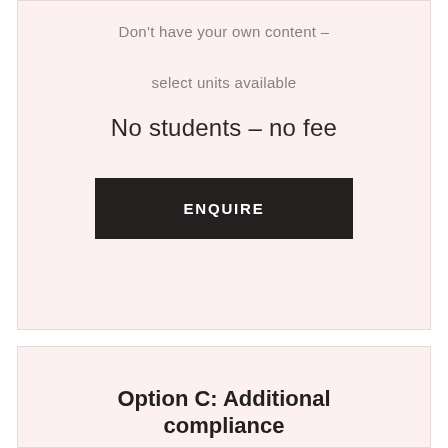Don't have your own content – select units available
No students – no fee
[Figure (other): Black button with white uppercase text reading ENQUIRE]
Option C: Additional compliance